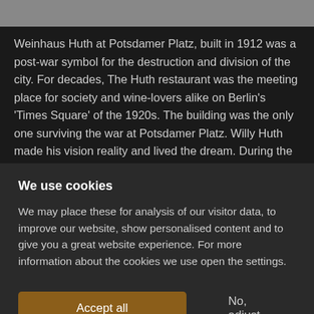[Figure (photo): Partial view of a photograph at top of page, appears to be a building or stone texture]
Weinhaus Huth at Potsdamer Platz, built in 1912 was a post-war symbol for the destruction and division of the city. For decades, The Huth restaurant was the meeting place for society and wine-lovers alike on Berlin's 'Times Square' of the 1920s. The building was the only one surviving the war at Potsdamer Platz. Willy Huth made his vision reality and lived the dream. During the war years, his close relationships to high-quality
We use cookies
We may place these for analysis of our visitor data, to improve our website, show personalised content and to give you a great website experience. For more information about the cookies we use open the settings.
Accept all
No, adjust